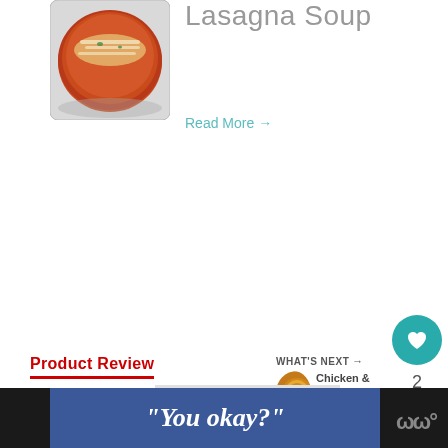Lasagna Soup
[Figure (photo): Bowl of lasagna soup topped with shredded cheese, viewed from above on a patterned surface]
Read More →
[Figure (infographic): Teal heart/like button icon]
2
[Figure (infographic): White share button icon]
Product Review
WHAT'S NEXT → Chicken & Egg Drop Soup
[Figure (photo): Thumbnail of chicken and egg drop soup]
Book Review
"You okay?"
[Figure (logo): W degree logo in bottom right]